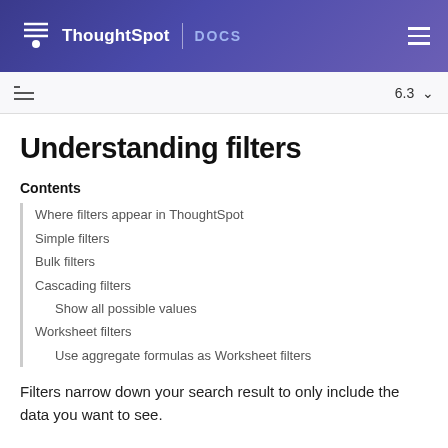ThoughtSpot | DOCS
Understanding filters
Contents
Where filters appear in ThoughtSpot
Simple filters
Bulk filters
Cascading filters
Show all possible values
Worksheet filters
Use aggregate formulas as Worksheet filters
Filters narrow down your search result to only include the data you want to see.